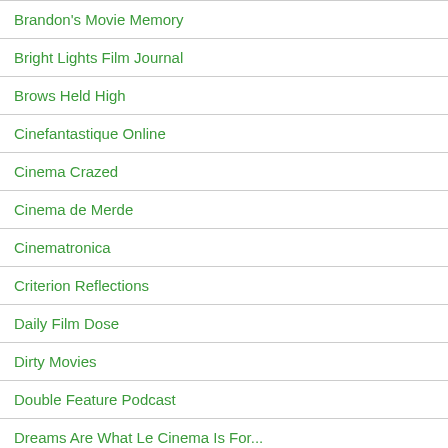Brandon's Movie Memory
Bright Lights Film Journal
Brows Held High
Cinefantastique Online
Cinema Crazed
Cinema de Merde
Cinematronica
Criterion Reflections
Daily Film Dose
Dirty Movies
Double Feature Podcast
Dreams Are What Le Cinema Is For...